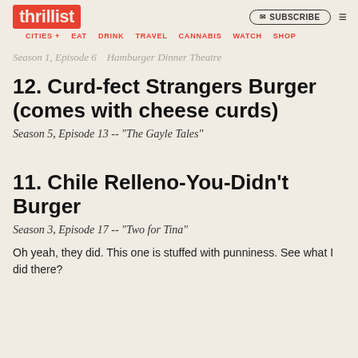thrillist — CITIES + EAT DRINK TRAVEL CANNABIS WATCH SHOP
Season 1, Episode 6 — Hamburger Dinner Theatre
12. Curd-fect Strangers Burger (comes with cheese curds)
Season 5, Episode 13 -- "The Gayle Tales"
11. Chile Relleno-You-Didn't Burger
Season 3, Episode 17 -- "Two for Tina" Oh yeah, they did. This one is stuffed with punniness. See what I did there?